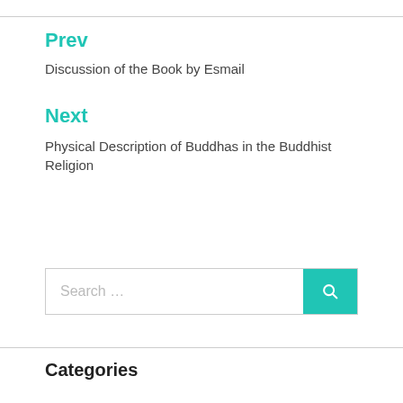Prev
Discussion of the Book by Esmail
Next
Physical Description of Buddhas in the Buddhist Religion
[Figure (other): Search bar with teal search button containing a magnifying glass icon]
Categories